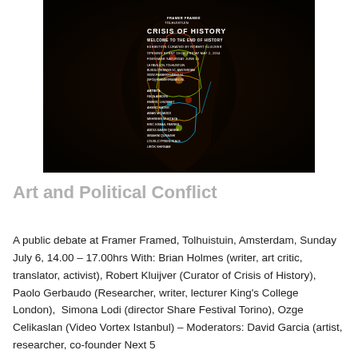[Figure (photo): Exhibition poster for 'Crisis of History: Welcome to the End of History', an exhibition curated by Robert Kluijver at Framer Framed / Tolhuistuin, Amsterdam. Dark background with abstract colorful neon-lit imagery of a vase or vessel shape. White text lists event details and artists including Reza Abedini, Emeric Lhuisset, Ahmed Mater, Aman Mojadidi, Mehreen Murtaza, Eric Esmail Parnes, Abdulkarim Qasem, Ibrahim Quraishi, Louis-Cyprien Rials, Urok Shirnam.]
Art and Political Conflict
A public debate at Framer Framed, Tolhuistuin, Amsterdam, Sunday July 6, 14.00 – 17.00hrs With: Brian Holmes (writer, art critic, translator, activist), Robert Kluijver (Curator of Crisis of History), Paolo Gerbaudo (Researcher, writer, lecturer King's College London),  Simona Lodi (director Share Festival Torino), Ozge Celikaslan (Video Vortex Istanbul) – Moderators: David Garcia (artist, researcher, co-founder Next 5